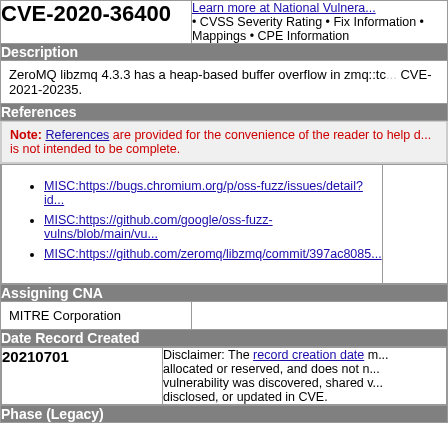| CVE-2020-36400 | NVD Links |
| --- | --- |
| CVE-2020-36400 | Learn more at National Vulnerability • CVSS Severity Rating • Fix Information • Mappings • CPE Information |
Description
ZeroMQ libzmq 4.3.3 has a heap-based buffer overflow in zmq::tcp... CVE-2021-20235.
References
Note: References are provided for the convenience of the reader to help d... is not intended to be complete.
MISC:https://bugs.chromium.org/p/oss-fuzz/issues/detail?id...
MISC:https://github.com/google/oss-fuzz-vulns/blob/main/vu...
MISC:https://github.com/zeromq/libzmq/commit/397ac8085...
Assigning CNA
MITRE Corporation
Date Record Created
20210701
Disclaimer: The record creation date m... allocated or reserved, and does not n... vulnerability was discovered, shared v... disclosed, or updated in CVE.
Phase (Legacy)